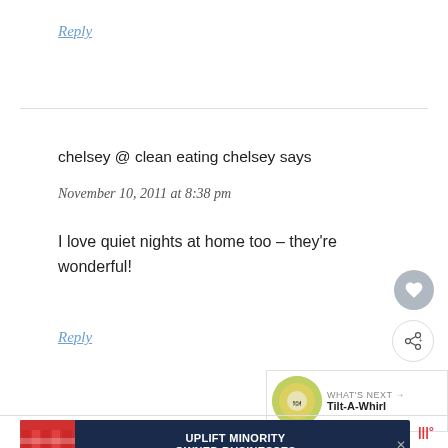Reply
chelsey @ clean eating chelsey says
November 10, 2011 at 8:38 pm
I love quiet nights at home too – they're wonderful!
Reply
[Figure (infographic): Advertisement banner: UPLIFT MINORITY OWNED BUSINESSES]
[Figure (infographic): What's Next widget showing Tilt-A-Whirl]